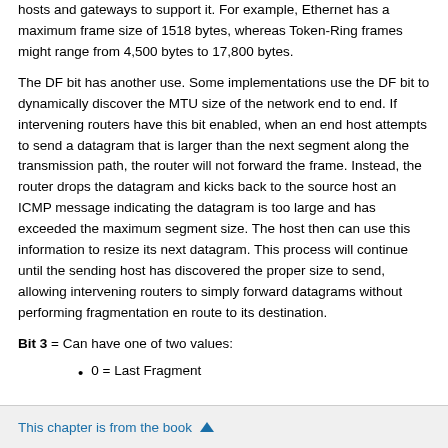hosts and gateways to support it. For example, Ethernet has a maximum frame size of 1518 bytes, whereas Token-Ring frames might range from 4,500 bytes to 17,800 bytes.
The DF bit has another use. Some implementations use the DF bit to dynamically discover the MTU size of the network end to end. If intervening routers have this bit enabled, when an end host attempts to send a datagram that is larger than the next segment along the transmission path, the router will not forward the frame. Instead, the router drops the datagram and kicks back to the source host an ICMP message indicating the datagram is too large and has exceeded the maximum segment size. The host then can use this information to resize its next datagram. This process will continue until the sending host has discovered the proper size to send, allowing intervening routers to simply forward datagrams without performing fragmentation en route to its destination.
Bit 3 = Can have one of two values:
0 = Last Fragment
This chapter is from the book